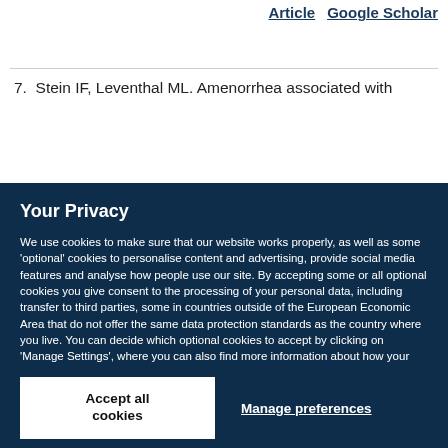Article  Google Scholar
7. Stein IF, Leventhal ML. Amenorrhea associated with
Your Privacy
We use cookies to make sure that our website works properly, as well as some 'optional' cookies to personalise content and advertising, provide social media features and analyse how people use our site. By accepting some or all optional cookies you give consent to the processing of your personal data, including transfer to third parties, some in countries outside of the European Economic Area that do not offer the same data protection standards as the country where you live. You can decide which optional cookies to accept by clicking on 'Manage Settings', where you can also find more information about how your personal data is processed. Further information can be found in our privacy policy.
Accept all cookies
Manage preferences